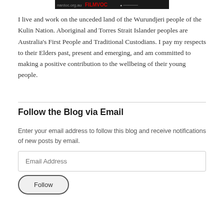[Figure (screenshot): A dark banner/header image with text, appears to be a website header with red text on dark background]
I live and work on the unceded land of the Wurundjeri people of the Kulin Nation. Aboriginal and Torres Strait Islander peoples are Australia's First People and Traditional Custodians. I pay my respects to their Elders past, present and emerging, and am committed to making a positive contribution to the wellbeing of their young people.
Follow the Blog via Email
Enter your email address to follow this blog and receive notifications of new posts by email.